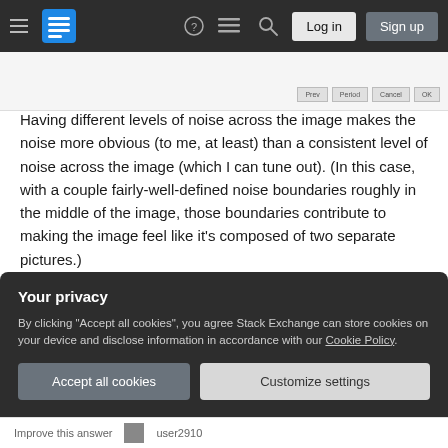Stack Exchange navigation bar with logo, hamburger menu, question mark, feedback, search, Log in, Sign up buttons
[Figure (screenshot): Partial screenshot of an image editor dialog with Prev, Period, Cancel, OK buttons visible at bottom right]
Having different levels of noise across the image makes the noise more obvious (to me, at least) than a consistent level of noise across the image (which I can tune out). (In this case, with a couple fairly-well-defined noise boundaries roughly in the middle of the image, those boundaries contribute to making the image feel like it's composed of two separate pictures.)
This view of the picture also highlights the lens flare
Your privacy
By clicking "Accept all cookies", you agree Stack Exchange can store cookies on your device and disclose information in accordance with our Cookie Policy.
Accept all cookies
Customize settings
Improve this answer    user2910